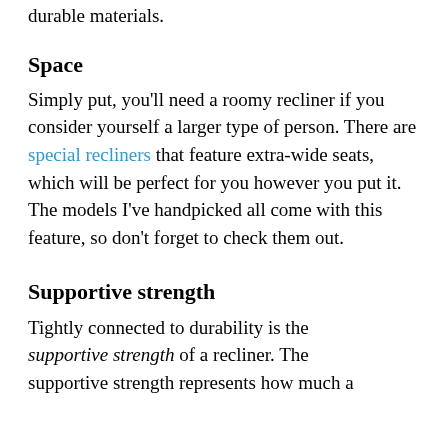and taller people, as they're using the most durable materials.
Space
Simply put, you'll need a roomy recliner if you consider yourself a larger type of person. There are special recliners that feature extra-wide seats, which will be perfect for you however you put it. The models I've handpicked all come with this feature, so don't forget to check them out.
Supportive strength
Tightly connected to durability is the supportive strength of a recliner. The supportive strength represents how much a